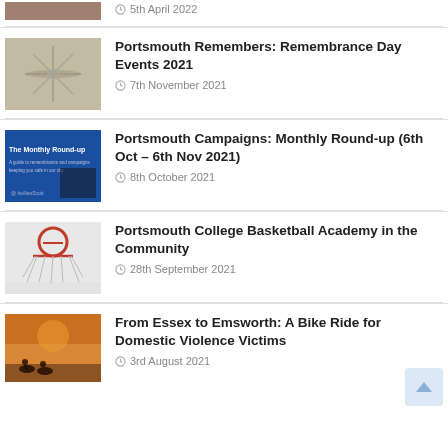[Figure (photo): Partial view of a person's portrait photo from a previous article, clipped at top]
5th April 2022
[Figure (photo): Aerial or ground-level view of a memorial compass rose on paving]
Portsmouth Remembers: Remembrance Day Events 2021
7th November 2021
[Figure (photo): Blue promotional graphic with text 'The Monthly Round-up' and additional campaign info]
Portsmouth Campaigns: Monthly Round-up (6th Oct – 6th Nov 2021)
8th October 2021
[Figure (photo): Basketball hoop viewed from below with red ring and net]
Portsmouth College Basketball Academy in the Community
28th September 2021
[Figure (photo): Silhouette of cyclists against an orange sunset sky]
From Essex to Emsworth: A Bike Ride for Domestic Violence Victims
3rd August 2021